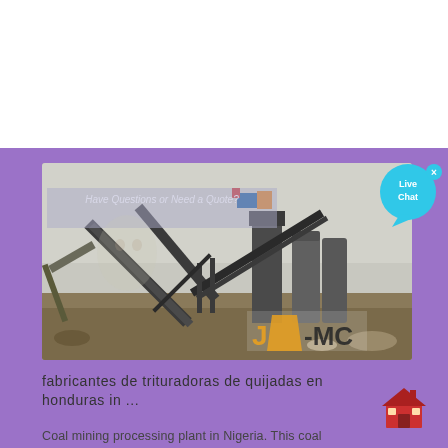[Figure (photo): Coal mining processing plant with conveyor belts, machinery, and silos in an industrial outdoor setting. JAMC logo visible on equipment.]
[Figure (illustration): Live Chat bubble icon in cyan/teal color with 'x' close button, containing text 'Live Chat']
fabricantes de trituradoras de quijadas en honduras in ...
[Figure (illustration): Red house/building icon]
Coal mining processing plant in Nigeria. This coal